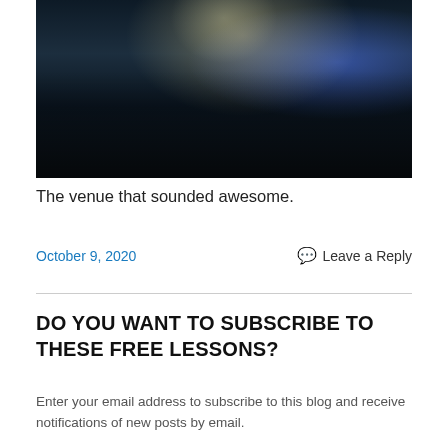[Figure (photo): Interior of a dimly lit venue with audience members seated at tables, blue stage lighting in the background, and a performance area visible at the front.]
The venue that sounded awesome.
October 9, 2020    Leave a Reply
DO YOU WANT TO SUBSCRIBE TO THESE FREE LESSONS?
Enter your email address to subscribe to this blog and receive notifications of new posts by email.